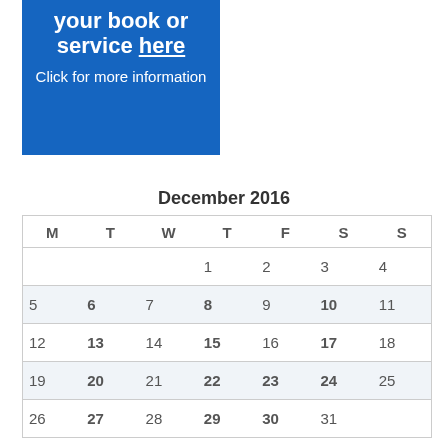[Figure (other): Blue promotional banner with text 'your book or service here' and 'Click for more information']
December 2016
| M | T | W | T | F | S | S |
| --- | --- | --- | --- | --- | --- | --- |
|  |  |  | 1 | 2 | 3 | 4 |
| 5 | 6 | 7 | 8 | 9 | 10 | 11 |
| 12 | 13 | 14 | 15 | 16 | 17 | 18 |
| 19 | 20 | 21 | 22 | 23 | 24 | 25 |
| 26 | 27 | 28 | 29 | 30 | 31 |  |